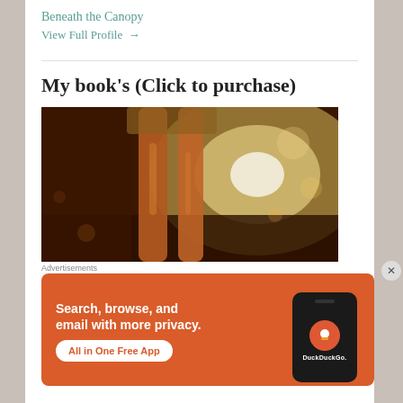Beneath the Canopy
View Full Profile →
My book's (Click to purchase)
[Figure (photo): Photograph of a person's legs walking in a golden sunlit outdoor scene, warm bokeh background]
Advertisements
[Figure (screenshot): DuckDuckGo advertisement banner: Search, browse, and email with more privacy. All in One Free App. Shows DuckDuckGo logo on a phone mockup.]